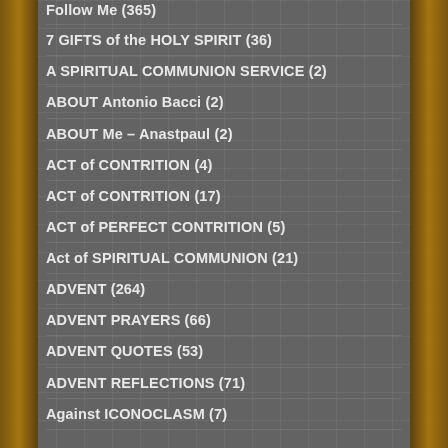Follow Me (365)
7 GIFTS of the HOLY SPIRIT (36)
A SPIRITUAL COMMUNION SERVICE (2)
ABOUT Antonio Bacci (2)
ABOUT Me – Anastpaul (2)
ACT of CONTRITION (4)
ACT of CONTRITION (17)
ACT of PERFECT CONTRITION (5)
Act of SPIRITUAL COMMUNION (21)
ADVENT (264)
ADVENT PRAYERS (66)
ADVENT QUOTES (53)
ADVENT REFLECTIONS (71)
Against ICONOCLASM (7)